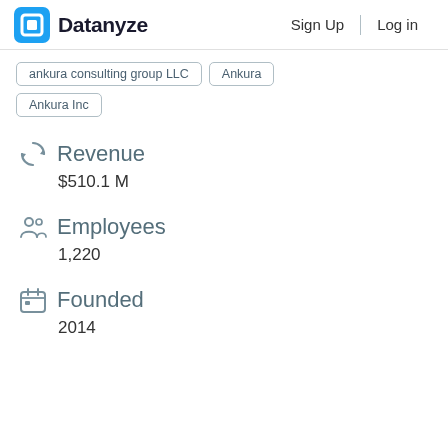Datanyze | Sign Up | Log in
ankura consulting group LLC
Ankura
Ankura Inc
Revenue
$510.1 M
Employees
1,220
Founded
2014